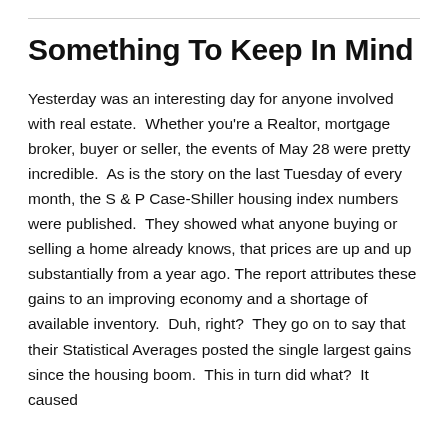Something To Keep In Mind
Yesterday was an interesting day for anyone involved with real estate.  Whether you're a Realtor, mortgage broker, buyer or seller, the events of May 28 were pretty incredible.  As is the story on the last Tuesday of every month, the S & P Case-Shiller housing index numbers were published.  They showed what anyone buying or selling a home already knows, that prices are up and up substantially from a year ago. The report attributes these gains to an improving economy and a shortage of available inventory.  Duh, right?  They go on to say that their Statistical Averages posted the single largest gains since the housing boom.  This in turn did what?  It caused